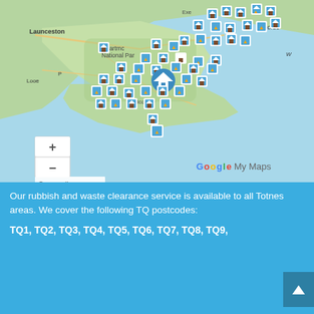[Figure (map): Google My Maps screenshot showing the Devon/South Devon area of England including Dartmoor National Park, Launceston, Looe, Salcombe, and parts of Dorset coastline. Numerous map pins (house icons with blue background and flame icons) are clustered across the area. A teal home/location icon appears centrally. Map includes zoom controls (+/-), Google My Maps branding, and Terms link at bottom left.]
Our rubbish and waste clearance service is available to all Totnes areas. We cover the following TQ postcodes:
TQ1, TQ2, TQ3, TQ4, TQ5, TQ6, TQ7, TQ8, TQ9,